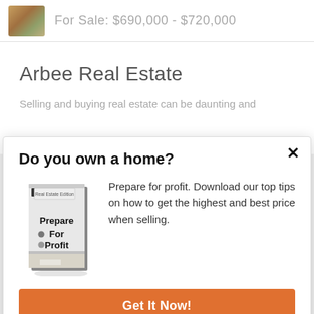[Figure (photo): Small thumbnail of a home/real estate property image]
For Sale: $690,000 - $720,000
Arbee Real Estate
Selling and buying real estate can be daunting and
Do you own a home?
[Figure (illustration): Book cover showing 'Prepare For Profit' with Real Estate Edition label]
Prepare for profit. Download our top tips on how to get the highest and best price when selling.
Get It Now!